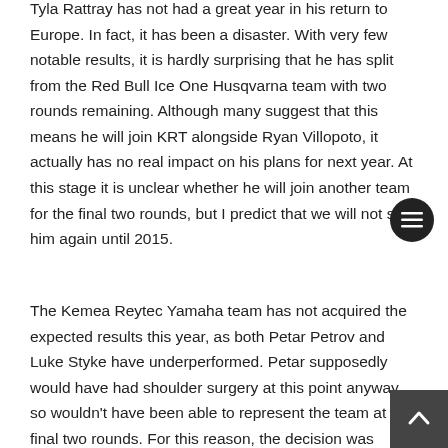Tyla Rattray has not had a great year in his return to Europe. In fact, it has been a disaster. With very few notable results, it is hardly surprising that he has split from the Red Bull Ice One Husqvarna team with two rounds remaining. Although many suggest that this means he will join KRT alongside Ryan Villopoto, it actually has no real impact on his plans for next year. At this stage it is unclear whether he will join another team for the final two rounds, but I predict that we will not see him again until 2015.
The Kemea Reytec Yamaha team has not acquired the expected results this year, as both Petar Petrov and Luke Styke have underperformed. Petar supposedly would have had shoulder surgery at this point anyway, so wouldn't have been able to represent the team at the final two rounds. For this reason, the decision was